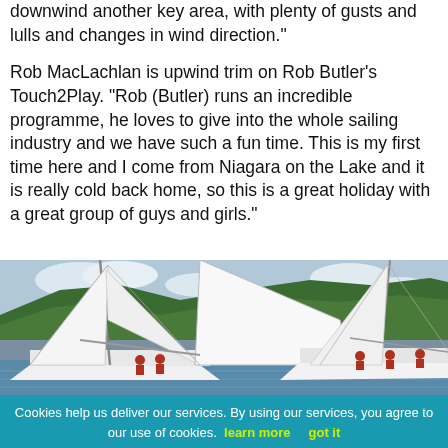downwind another key area, with plenty of gusts and lulls and changes in wind direction."
Rob MacLachlan is upwind trim on Rob Butler's Touch2Play. "Rob (Butler) runs an incredible programme, he loves to give into the whole sailing industry and we have such a fun time. This is my first time here and I come from Niagara on the Lake and it is really cold back home, so this is a great holiday with a great group of guys and girls."
[Figure (photo): Sailing race photo showing two sailboats with white sails in close proximity on blue water, crew members visible on deck, green hillside in background under partly cloudy sky.]
Cookies help us deliver our services. By using our services, you agree to our use of cookies. learn more    got it